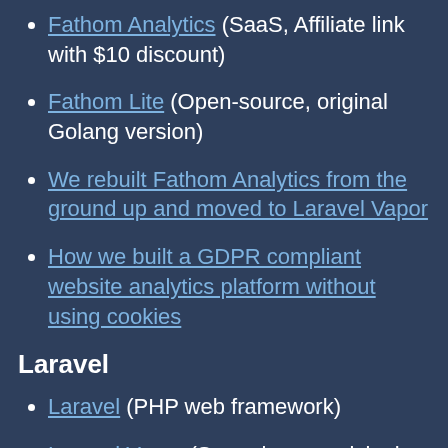Fathom Analytics (SaaS, Affiliate link with $10 discount)
Fathom Lite (Open-source, original Golang version)
We rebuilt Fathom Analytics from the ground up and moved to Laravel Vapor
How we built a GDPR compliant website analytics platform without using cookies
Laravel
Laravel (PHP web framework)
Laravel Vapor (Serverless provisioning and deployment tool)